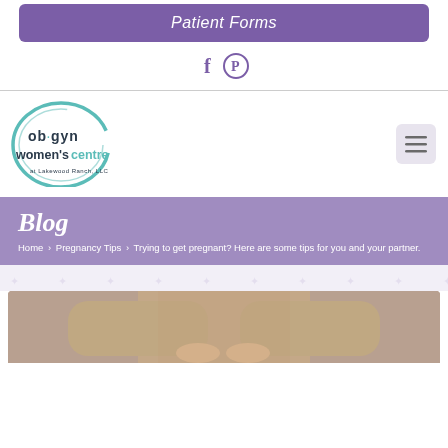Patient Forms
[Figure (other): Social media icons: Facebook (f) and Pinterest (circle with P)]
[Figure (logo): OB-GYN Women's Centre at Lakewood Ranch LLC logo — circular teal swoosh with text]
[Figure (other): Hamburger menu button (three horizontal lines) in a rounded square]
Blog
Home › Pregnancy Tips › Trying to get pregnant? Here are some tips for you and your partner.
[Figure (photo): Partial photo of a person in a beige/tan sweater with hands folded, torso visible]